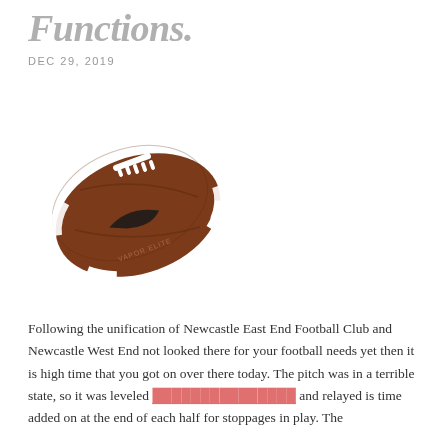Functions.
DEC 29, 2019
[Figure (photo): A Nike American football (brown leather with white laces and Nike swoosh logo) on a white background]
Following the unification of Newcastle East End Football Club and Newcastle West End not looked there for your football needs yet then it is high time that you got on over there today. The pitch was in a terrible state, so it was leveled [link text] and relayed is time added on at the end of each half for stoppages in play. The